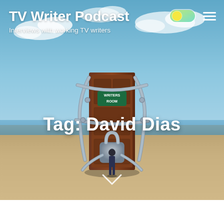TV Writer Podcast
Interviews with working TV writers
[Figure (illustration): A chained door labeled 'WRITERS ROOM' with a small figure standing in front of it, set against a surreal landscape with sky and flat ground.]
Tag: David Dias